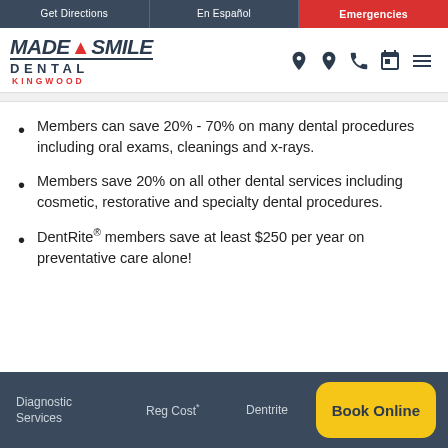Get Directions | En Español | Emergencies
[Figure (logo): Made Ya Smile Dental Kingwood logo with Texas state icon]
Members can save 20% - 70% on many dental procedures including oral exams, cleanings and x-rays.
Members save 20% on all other dental services including cosmetic, restorative and specialty dental procedures.
DentRite® members save at least $250 per year on preventative care alone!
Diagnostic Services | Reg Cost* | Dentrite | Book Online